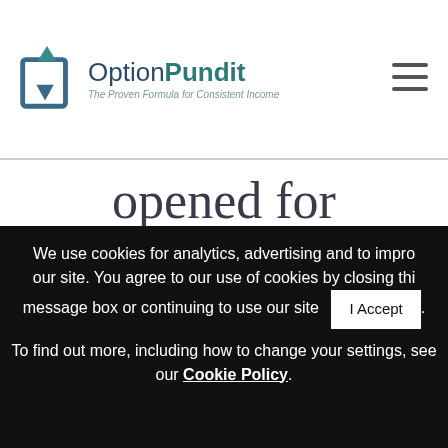[Figure (logo): OptionPundit logo with icon and tagline 'The Proven Formula for Consistent Income']
opened for $72 debit and was closed for $110
We use cookies for analytics, advertising and to improve our site. You agree to our use of cookies by closing this message box or continuing to use our site I Accept . To find out more, including how to change your settings, see our Cookie Policy.